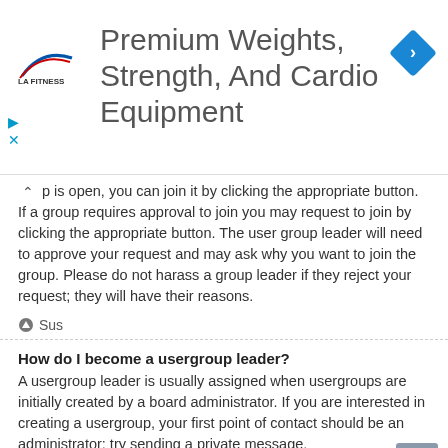[Figure (screenshot): LA Fitness advertisement banner with logo and text 'Premium Weights, Strength, And Cardio Equipment' and a blue navigation arrow icon on the right]
p is open, you can join it by clicking the appropriate button. If a group requires approval to join you may request to join by clicking the appropriate button. The user group leader will need to approve your request and may ask why you want to join the group. Please do not harass a group leader if they reject your request; they will have their reasons.
Sus
How do I become a usergroup leader?
A usergroup leader is usually assigned when usergroups are initially created by a board administrator. If you are interested in creating a usergroup, your first point of contact should be an administrator; try sending a private message.
Sus
Why do some usergroups appear in a different colour?